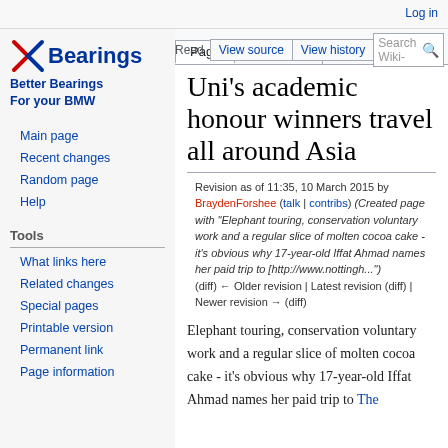Log in
[Figure (logo): Bearings logo with stylized X icon in red/blue, text 'Bearings' in dark blue bold, tagline 'Better Bearings For your BMW' in bold dark blue]
Main page
Recent changes
Random page
Help
Tools
What links here
Related changes
Special pages
Printable version
Permanent link
Page information
Uni's academic honour winners travel all around Asia
Revision as of 11:35, 10 March 2015 by BraydenForshee (talk | contribs) (Created page with "Elephant touring, conservation voluntary work and a regular slice of molten cocoa cake - it's obvious why 17-year-old Iffat Ahmad names her paid trip to [http://www.nottingh...")
(diff) ← Older revision | Latest revision (diff) | Newer revision → (diff)
Elephant touring, conservation voluntary work and a regular slice of molten cocoa cake - it's obvious why 17-year-old Iffat Ahmad names her paid trip to The